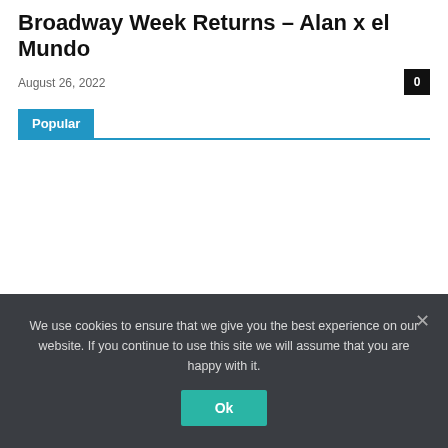Broadway Week Returns – Alan x el Mundo
August 26, 2022
Popular
We use cookies to ensure that we give you the best experience on our website. If you continue to use this site we will assume that you are happy with it.